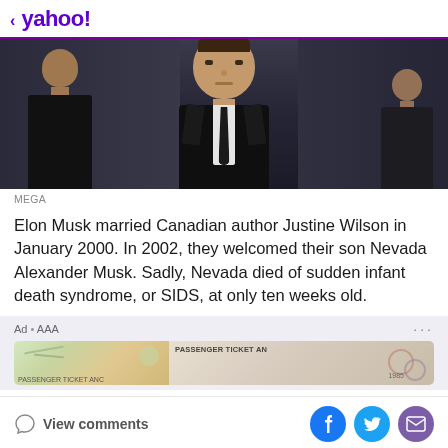< yahoo!
[Figure (photo): Photo of Elon Musk in dark suit and tie, with security personnel in background]
MEGA
Elon Musk married Canadian author Justine Wilson in January 2000. In 2002, they welcomed their son Nevada Alexander Musk. Sadly, Nevada died of sudden infant death syndrome, or SIDS, at only ten weeks old.
[Figure (screenshot): Ad banner for AAA showing travel-related imagery with passport and tickets]
View comments